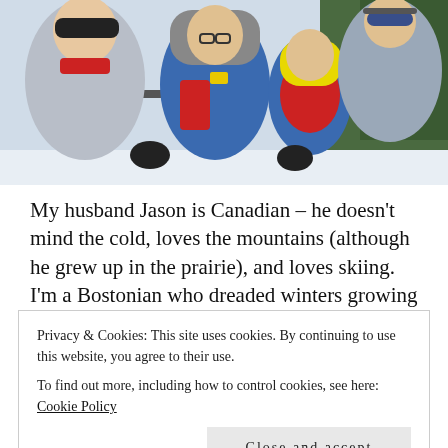[Figure (photo): A family selfie on a ski lift or slope. A woman in a silver puffer jacket and red scarf on the left, a boy in the center wearing a blue and red ski jacket, grey helmet, and glasses, a toddler in red and blue ski gear with a yellow helmet, and a man in grey jacket with ski goggles on the right. They are outdoors in a snowy mountain setting.]
My husband Jason is Canadian – he doesn't mind the cold, loves the mountains (although he grew up in the prairie), and loves skiing.  I'm a Bostonian who dreaded winters growing up, loves beaches and warm weather… hence our
Privacy & Cookies: This site uses cookies. By continuing to use this website, you agree to their use.
To find out more, including how to control cookies, see here: Cookie Policy